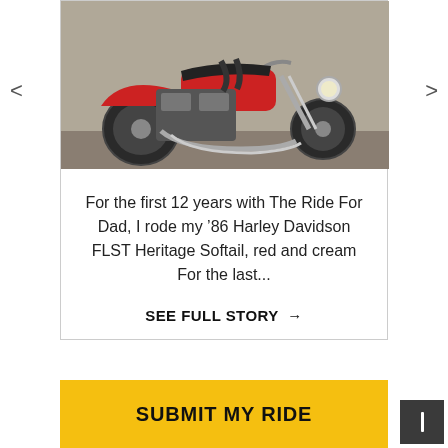[Figure (photo): Photograph of a red and cream Harley Davidson FLST Heritage Softail motorcycle, close-up of the engine and body, taken outdoors.]
For the first 12 years with The Ride For Dad, I rode my '86 Harley Davidson FLST Heritage Softail, red and cream For the last...
SEE FULL STORY →
SUBMIT MY RIDE